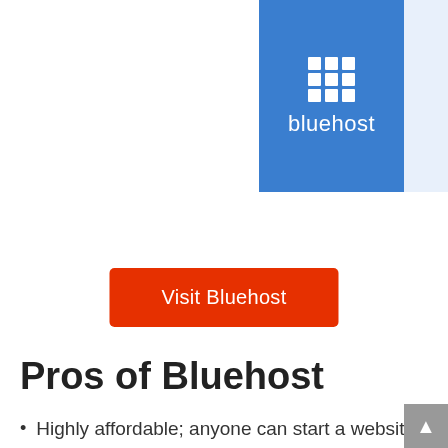[Figure (logo): Bluehost logo: blue rectangle with white grid icon and 'bluehost' text in white]
Visit Bluehost
Pros of Bluehost
Highly affordable; anyone can start a website